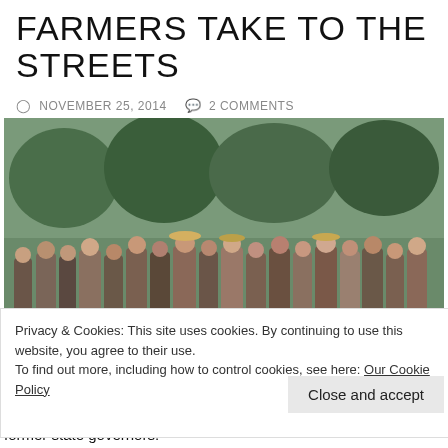FARMERS TAKE TO THE STREETS
NOVEMBER 25, 2014   2 COMMENTS
[Figure (photo): Shirtless farmers marching in protest on a city street, some wearing straw hats, with trees and urban infrastructure visible in the background.]
Privacy & Cookies: This site uses cookies. By continuing to use this website, you agree to their use.
To find out more, including how to control cookies, see here: Our Cookie Policy
Close and accept
former state governors.